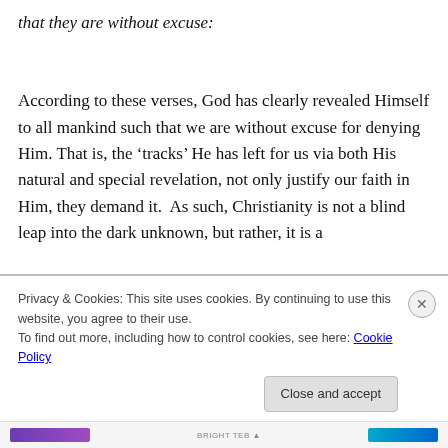that they are without excuse:
According to these verses, God has clearly revealed Himself to all mankind such that we are without excuse for denying Him. That is, the ‘tracks’ He has left for us via both His natural and special revelation, not only justify our faith in Him, they demand it. As such, Christianity is not a blind leap into the dark unknown, but rather, it is a
Privacy & Cookies: This site uses cookies. By continuing to use this website, you agree to their use.
To find out more, including how to control cookies, see here: Cookie Policy
Close and accept